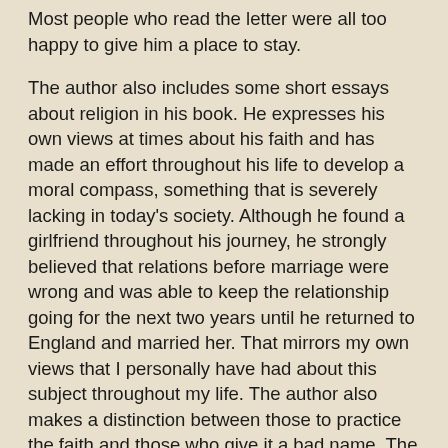Most people who read the letter were all too happy to give him a place to stay.
The author also includes some short essays about religion in his book. He expresses his own views at times about his faith and has made an effort throughout his life to develop a moral compass, something that is severely lacking in today's society. Although he found a girlfriend throughout his journey, he strongly believed that relations before marriage were wrong and was able to keep the relationship going for the next two years until he returned to England and married her. That mirrors my own views that I personally have had about this subject throughout my life. The author also makes a distinction between those to practice the faith and those who give it a bad name. The author gives the example of how much of the debased entertainment made by hollywood is seen by foreigners to be coming from Christian people, under the assumption that all Westerners are religious and Christian and would practice what is on TV. Although a man of strong convictions, the author gives the impression that even he does not have a complete picture of everything involving his faith. Through his own account, he describes